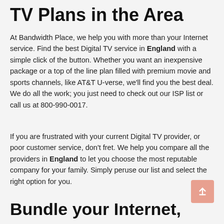TV Plans in the Area
At Bandwidth Place, we help you with more than your Internet service. Find the best Digital TV service in England with a simple click of the button. Whether you want an inexpensive package or a top of the line plan filled with premium movie and sports channels, like AT&T U-verse, we'll find you the best deal. We do all the work; you just need to check out our ISP list or call us at 800-990-0017.
If you are frustrated with your current Digital TV provider, or poor customer service, don't fret. We help you compare all the providers in England to let you choose the most reputable company for your family. Simply peruse our list and select the right option for you.
Bundle your Internet,